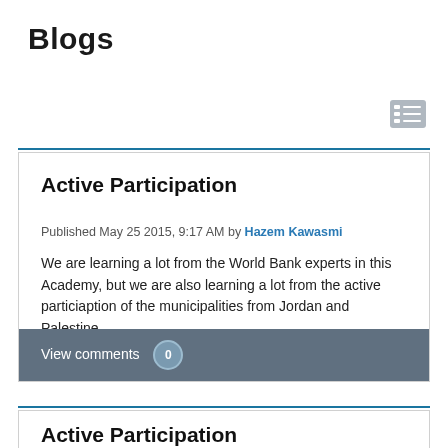Blogs
[Figure (other): List/table icon button in top right corner]
Active Participation
Published May 25 2015, 9:17 AM by Hazem Kawasmi
We are learning a lot from the World Bank experts in this Academy, but we are also learning a lot from the active particiaption of the municipalities from Jordan and Palestine.
View comments (0)
Active Participation